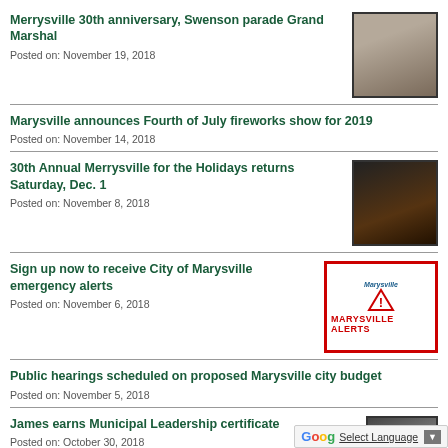Merrysville 30th anniversary, Swenson parade Grand Marshal
Posted on: November 19, 2018
[Figure (photo): Photo of a blonde woman in dark clothing]
Marysville announces Fourth of July fireworks show for 2019
Posted on: November 14, 2018
30th Annual Merrysville for the Holidays returns Saturday, Dec. 1
Posted on: November 8, 2018
[Figure (photo): Dark photo of holiday lights/decoration scene]
Sign up now to receive City of Marysville emergency alerts
Posted on: November 6, 2018
[Figure (logo): Marysville Alerts logo with red border and warning triangle]
Public hearings scheduled on proposed Marysville city budget
Posted on: November 5, 2018
James earns Municipal Leadership certificate
Posted on: October 30, 2018
[Figure (photo): Partial photo of a person, partially cropped]
Select Language